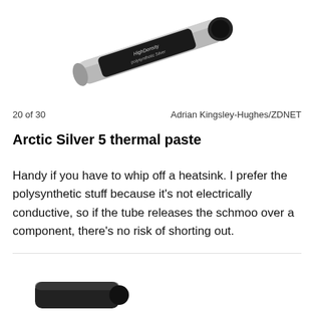[Figure (photo): Partial view of Arctic Silver thermal paste tube (polysynthetic silver), cropped at the top of the page showing the tube label and cap.]
20 of 30	Adrian Kingsley-Hughes/ZDNET
Arctic Silver 5 thermal paste
Handy if you have to whip off a heatsink. I prefer the polysynthetic stuff because it's not electrically conductive, so if the tube releases the schmoo over a component, there's no risk of shorting out.
[Figure (photo): Bottom partial view of another product, showing a dark cap/tube at the bottom of the page.]